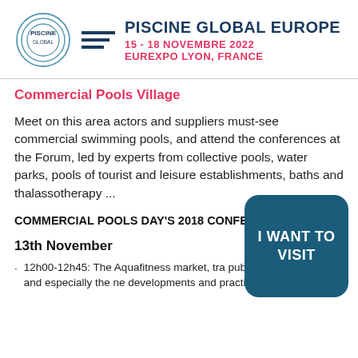PISCINE GLOBAL EUROPE
15 - 18 NOVEMBRE 2022
EUREXPO LYON, FRANCE
Commercial Pools Village
Meet on this area actors and suppliers must-see commercial swimming pools, and attend the conferences at the Forum, led by experts from collective pools, water parks, pools of tourist and leisure establishments, baths and thalassotherapy ...
COMMERCIAL POOLS DAY'S 2018 CONFERENCES:
13th November
12h00-12h45: The Aquafitness market, tra public water centers and especially the ne developments and practices
[Figure (other): Teal rounded rectangle CTA button reading 'I WANT TO VISIT']